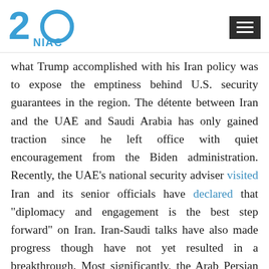NIAC logo and navigation menu
what Trump accomplished with his Iran policy was to expose the emptiness behind U.S. security guarantees in the region. The détente between Iran and the UAE and Saudi Arabia has only gained traction since he left office with quiet encouragement from the Biden administration. Recently, the UAE's national security adviser visited Iran and its senior officials have declared that "diplomacy and engagement is the best step forward" on Iran. Iran-Saudi talks have also made progress though have not yet resulted in a breakthrough. Most significantly, the Arab Persian Gulf states now support the restoration of the nuclear deal they once vehemently opposed.